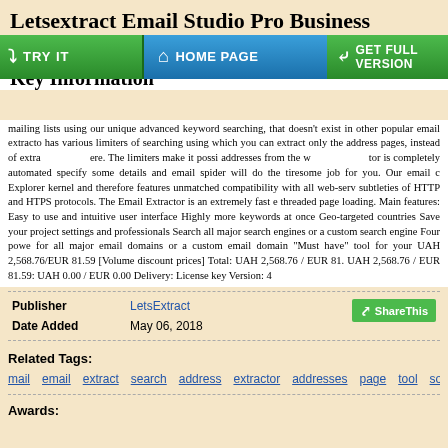Letsextract Email Studio Pro Business License
Key Information
mailing lists using our unique advanced keyword searching, that doesn't exist in other popular email extractors. It has various limiters of searching using which you can extract only the addresses from certain pages, instead of extracting everything out there. The limiters make it possible to collect email addresses from the web. The extractor is completely automated and all you need to do is specify some details and email spider will do the tiresome job for you. Our email crawler uses Internet Explorer kernel and therefore features unmatched compatibility with all web-servers and subtleties of HTTP and HTPS protocols. The Email Extractor is an extremely fast email extractor, threaded page loading. Main features: Easy to use and intuitive user interface Highly customizable more keywords at once Geo-targeted countries Save your project settings and resume professionals Search all major search engines or a custom search engine Four powerful filters for all major email domains or a custom email domain "Must have" tool for your business UAH 2,568.76/EUR 81.59 [Volume discount prices] Total: UAH 2,568.76 / EUR 81.59 Discount: UAH 2,568.76 / EUR 81.59: UAH 0.00 / EUR 0.00 Delivery: License key Version: 4
| Field | Value | Action |
| --- | --- | --- |
| Publisher | LetsExtract |  |
| Date Added | May 06, 2018 | ShareThis |
Related Tags:
mail
email
extract
search
address
extractor
addresses
page
tool
sof
Awards: